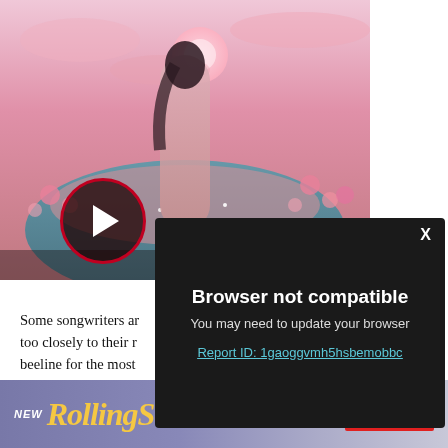[Figure (screenshot): Video thumbnail showing a woman in a pink/rose fantasy landscape with a winding path decorated with flowers and lily pads. A play button (dark circle with red border and white triangle) is overlaid in the lower left of the thumbnail.]
[Figure (screenshot): Browser compatibility error modal dialog over the video. Dark background (#1a1a1a). Contains 'Browser not compatible' heading, 'You may need to update your browser' subtext, and a cyan underlined link 'Report ID: 1gaoggvmh5hsbemobbc'. An X close button is in the top right.]
Some songwriters ar... too closely to their r... beeline for the most ... adolescent romance ...
[Figure (advertisement): Rolling Stone magazine advertisement. Purple/lavender gradient background. 'NEW' in italic white on left. 'RollingStone' logo in gold italic serif font. Right side: 'ON SALE SEP 5' in small white uppercase text, and a red 'SUBSCRIBE' button.]